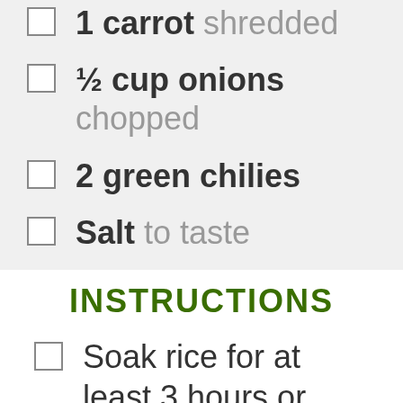1 carrot shredded
½ cup onions chopped
2 green chilies
Salt to taste
INSTRUCTIONS
Soak rice for at least 3 hours or overnight.
Soak chana for at least 8 hours.